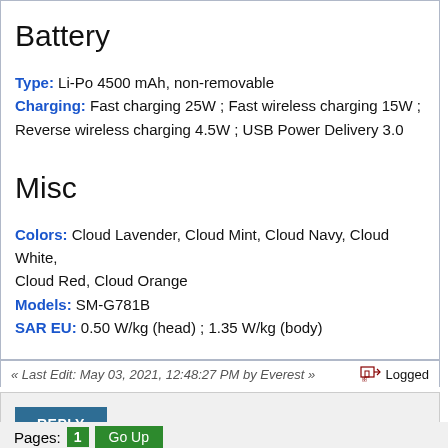Battery
Type: Li-Po 4500 mAh, non-removable
Charging: Fast charging 25W ; Fast wireless charging 15W ; Reverse wireless charging 4.5W ; USB Power Delivery 3.0
Misc
Colors: Cloud Lavender, Cloud Mint, Cloud Navy, Cloud White, Cloud Red, Cloud Orange
Models: SM-G781B
SAR EU: 0.50 W/kg (head) ; 1.35 W/kg (body)
« Last Edit: May 03, 2021, 12:48:27 PM by Everest » Logged
REPLY
Pages: [ 1 ] Go Up